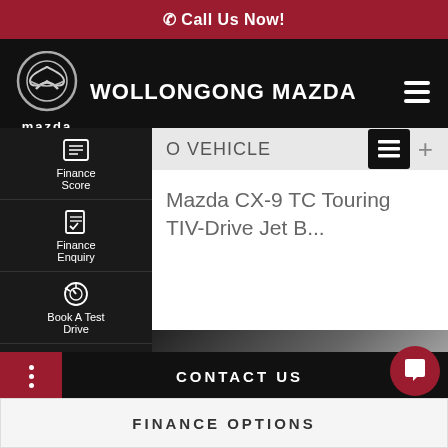Call Us Now!
[Figure (logo): Wollongong Mazda logo with Mazda circular winged emblem and brand name WOLLONGONG MAZDA in white on black background]
Finance Score
Finance Enquiry
Book A Test Drive
Click To Buy
Instant Offer
O VEHICLE
Mazda CX-9 TC Touring TIV-Drive Jet B...
CONTACT US
FINANCE OPTIONS